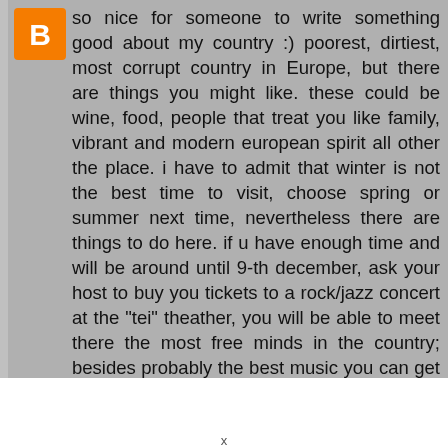so nice for someone to write something good about my country :) poorest, dirtiest, most corrupt country in Europe, but there are things you might like. these could be wine, food, people that treat you like family, vibrant and modern european spirit all other the place. i have to admit that winter is not the best time to visit, choose spring or summer next time, nevertheless there are things to do here. if u have enough time and will be around until 9-th december, ask your host to buy you tickets to a rock/jazz concert at the "tei" theather, you will be able to meet there the most free minds in the country; besides probably the best music you can get here. you should go visit some of our museums too(not too many, but its an amazing back to the past experience). you should try some pies ("placinte"), these are probably the most popular